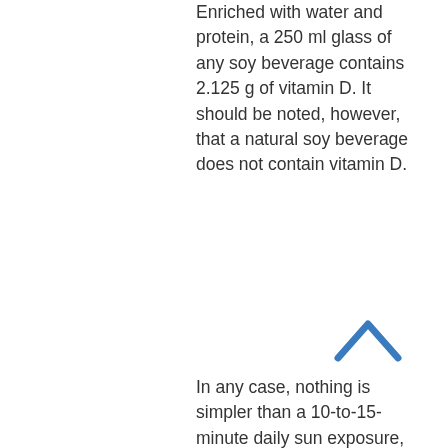Enriched with water and protein, a 250 ml glass of any soy beverage contains 2.125 g of vitamin D. It should be noted, however, that a natural soy beverage does not contain vitamin D.
[Figure (illustration): A blue chevron/caret arrow pointing upward, likely a navigation or scroll-up icon.]
In any case, nothing is simpler than a 10-to-15-minute daily sun exposure, because the diet only partly